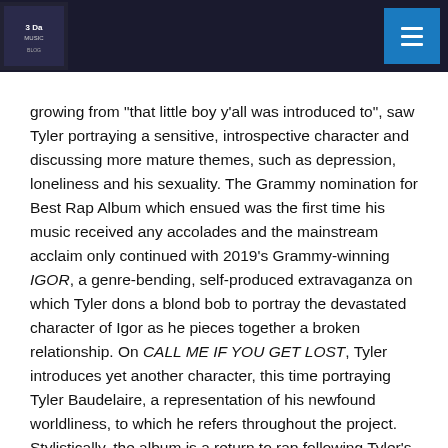growing from “that little boy y’all was introduced to”, saw Tyler portraying a sensitive, introspective character and discussing more mature themes, such as depression, loneliness and his sexuality. The Grammy nomination for Best Rap Album which ensued was the first time his music received any accolades and the mainstream acclaim only continued with 2019’s Grammy-winning IGOR, a genre-bending, self-produced extravaganza on which Tyler dons a blond bob to portray the devastated character of Igor as he pieces together a broken relationship. On CALL ME IF YOU GET LOST, Tyler introduces yet another character, this time portraying Tyler Baudelaire, a representation of his newfound worldliness, to which he refers throughout the project. Stylistically, the album is a return to rap following Tyler’s foray into pop with IGOR. Tyler’s spitting on the album serves as a reminder that he is as lyrically deft as anyone right now, with his skills particularly on display on the penultimate track, ‘WILSHIRE’, an epic nine-minute stream-of-consciousness which was allegedly a freestyle recorded in one take. DJ Drama’s hosting of the